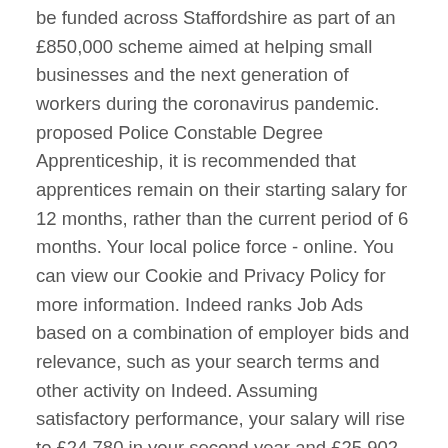be funded across Staffordshire as part of an £850,000 scheme aimed at helping small businesses and the next generation of workers during the coronavirus pandemic. proposed Police Constable Degree Apprenticeship, it is recommended that apprentices remain on their starting salary for 12 months, rather than the current period of 6 months. Your local police force - online. You can view our Cookie and Privacy Policy for more information. Indeed ranks Job Ads based on a combination of employer bids and relevance, such as your search terms and other activity on Indeed. Assuming satisfactory performance, your salary will rise to £24,780 in your second year and £25,902 in your third. Coronavirus (COVID-19) - updates from the University can be found on our coronavirus pages. Not affiliated with Toronto Police Services, Toronto Fire Services, or the City of Toronto - In case of Emergency call 911 Overview: The PCDA Programme is a three-year programme with